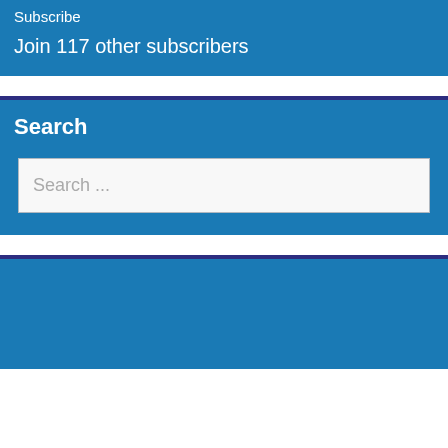Subscribe
Join 117 other subscribers
Search
Search ...